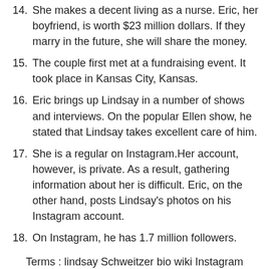14. She makes a decent living as a nurse. Eric, her boyfriend, is worth $23 million dollars. If they marry in the future, she will share the money.
15. The couple first met at a fundraising event. It took place in Kansas City, Kansas.
16. Eric brings up Lindsay in a number of shows and interviews. On the popular Ellen show, he stated that Lindsay takes excellent care of him.
17. She is a regular on Instagram.Her account, however, is private. As a result, gathering information about her is difficult. Eric, on the other hand, posts Lindsay's photos on his Instagram account.
18. On Instagram, he has 1.7 million followers.
Terms : lindsay Schweitzer bio wiki Instagram birthday nurse measurements ethnicity IMDb age eric Stonestreet